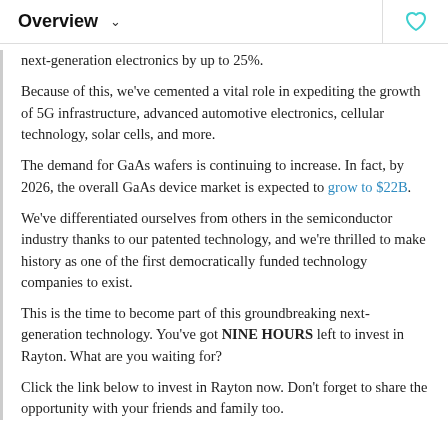Overview
next-generation electronics by up to 25%.
Because of this, we've cemented a vital role in expediting the growth of 5G infrastructure, advanced automotive electronics, cellular technology, solar cells, and more.
The demand for GaAs wafers is continuing to increase. In fact, by 2026, the overall GaAs device market is expected to grow to $22B.
We've differentiated ourselves from others in the semiconductor industry thanks to our patented technology, and we're thrilled to make history as one of the first democratically funded technology companies to exist.
This is the time to become part of this groundbreaking next-generation technology. You've got NINE HOURS left to invest in Rayton. What are you waiting for?
Click the link below to invest in Rayton now. Don't forget to share the opportunity with your friends and family too.